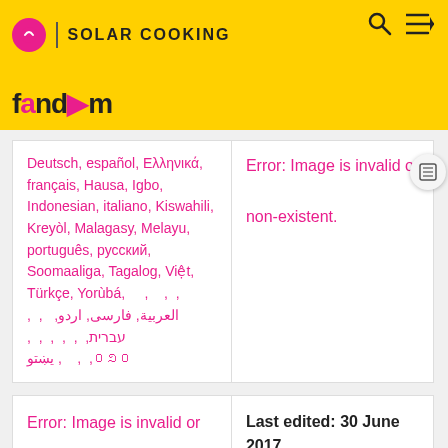SOLAR COOKING | Fandom
Deutsch, español, Ελληνικά, français, Hausa, Igbo, Indonesian, italiano, Kiswahili, Kreyòl, Malagasy, Melayu, português, русский, Soomaaliga, Tagalog, Việt, Türkçe, Yorùbá, العربية, فارسى, اردو, עברית, يښتو, ០១០
Error: Image is invalid or non-existent.
Error: Image is invalid or non-existent.
Last edited: 30 June 2017